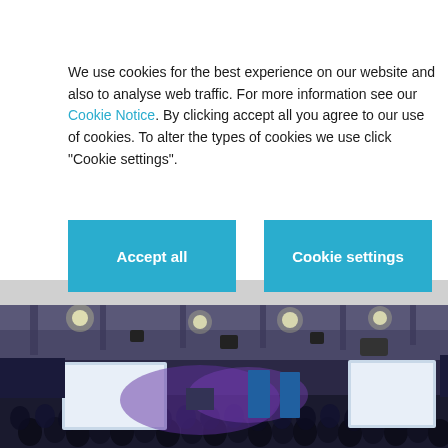We use cookies for the best experience on our website and also to analyse web traffic. For more information see our Cookie Notice. By clicking accept all you agree to our use of cookies. To alter the types of cookies we use click "Cookie settings".
Accept all
Cookie settings
the event.
[Figure (photo): Conference hall with large audience, presentation screens and purple stage lighting]